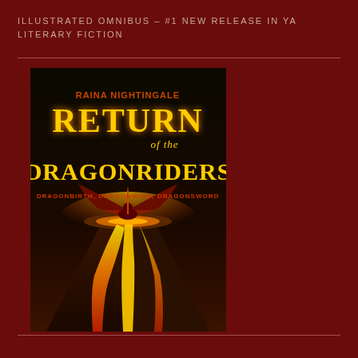ILLUSTRATED OMNIBUS – #1 NEW RELEASE IN YA LITERARY FICTION
[Figure (illustration): Book cover for 'Return of the Dragonriders' by Raina Nightingale. Dark background with glowing yellow-orange title text. Shows a volcano erupting with lava flowing down. A dragon with spread wings sits atop the volcano. Subtitle reads: DRAGONBIRTH, DRAGONWING, DRAGONSWORD.]